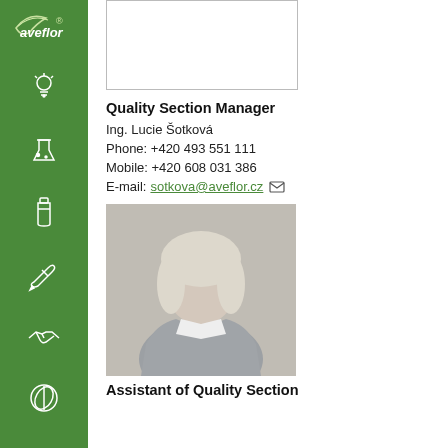[Figure (logo): Aveflor logo - white text on green sidebar]
[Figure (other): Sidebar navigation icons on green background]
[Figure (photo): Placeholder photo box (partially visible, top of page)]
Quality Section Manager
Ing. Lucie Šotková
Phone: +420 493 551 111
Mobile: +420 608 031 386
E-mail:sotkova@aveflor.cz
[Figure (photo): Photo of blonde woman in grey blazer - Quality Section Assistant]
Assistant of Quality Section